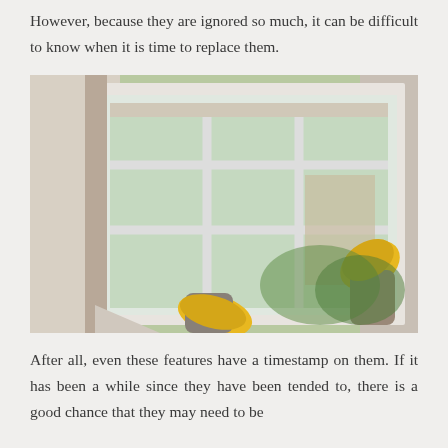However, because they are ignored so much, it can be difficult to know when it is time to replace them.
[Figure (photo): A person wearing yellow work gloves and a grey long-sleeve shirt removing or installing a white multi-pane window from a house exterior, with greenery visible in the background.]
After all, even these features have a timestamp on them. If it has been a while since they have been tended to, there is a good chance that they may need to be